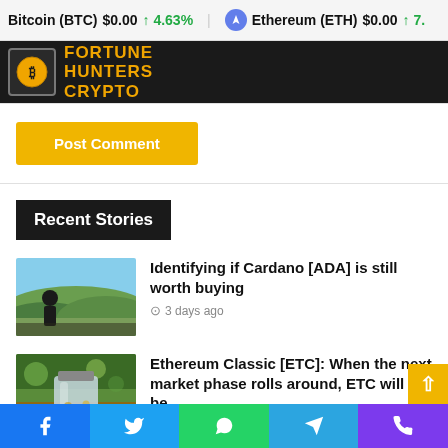Bitcoin (BTC) $0.00 ↑ 4.63%   Ethereum (ETH) $0.00 ↑ 7.
[Figure (logo): Fortune Hunters Crypto logo with Bitcoin coin icon and yellow text on dark background]
Post Comment
Recent Stories
[Figure (photo): Person silhouetted looking at landscape, green hills and fields]
Identifying if Cardano [ADA] is still worth buying
3 days ago
[Figure (photo): Glass jar on wooden table outdoors]
Ethereum Classic [ETC]: When the next market phase rolls around, ETC will be…
4 days ago
Facebook  Twitter  WhatsApp  Telegram  Phone